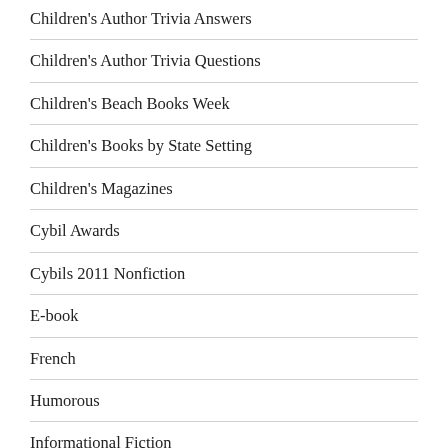Children's Author Trivia Answers
Children's Author Trivia Questions
Children's Beach Books Week
Children's Books by State Setting
Children's Magazines
Cybil Awards
Cybils 2011 Nonfiction
E-book
French
Humorous
Informational Fiction